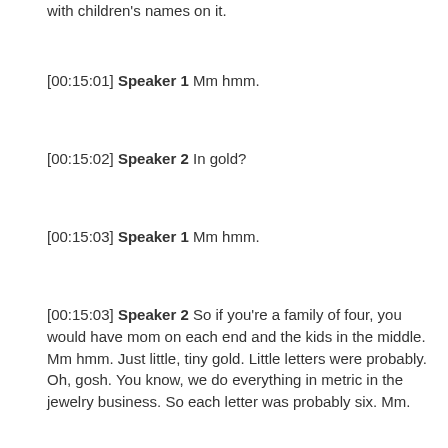with children's names on it.
[00:15:01] Speaker 1 Mm hmm.
[00:15:02] Speaker 2 In gold?
[00:15:03] Speaker 1 Mm hmm.
[00:15:03] Speaker 2 So if you're a family of four, you would have mom on each end and the kids in the middle. Mm hmm. Just little, tiny gold. Little letters were probably. Oh, gosh. You know, we do everything in metric in the jewelry business. So each letter was probably six. Mm.